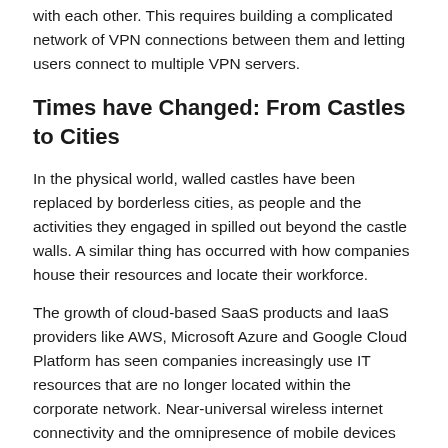with each other. This requires building a complicated network of VPN connections between them and letting users connect to multiple VPN servers.
Times have Changed: From Castles to Cities
In the physical world, walled castles have been replaced by borderless cities, as people and the activities they engaged in spilled out beyond the castle walls. A similar thing has occurred with how companies house their resources and locate their workforce.
The growth of cloud-based SaaS products and IaaS providers like AWS, Microsoft Azure and Google Cloud Platform has seen companies increasingly use IT resources that are no longer located within the corporate network. Near-universal wireless internet connectivity and the omnipresence of mobile devices has allowed many workers to work from outside the office and while traveling. The COVID-19 pandemic accelerated this trend